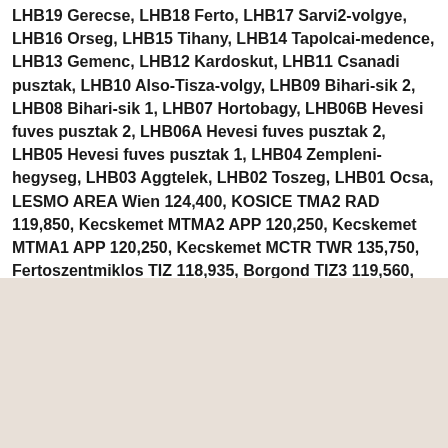LHB19 Gerecse, LHB18 Ferto, LHB17 Sarvi2-volgye, LHB16 Orseg, LHB15 Tihany, LHB14 Tapolcai-medence, LHB13 Gemenc, LHB12 Kardoskut, LHB11 Csanadi pusztak, LHB10 Also-Tisza-volgy, LHB09 Bihari-sik 2, LHB08 Bihari-sik 1, LHB07 Hortobagy, LHB06B Hevesi fuves pusztak 2, LHB06A Hevesi fuves pusztak 2, LHB05 Hevesi fuves pusztak 1, LHB04 Zempleni-hegyseg, LHB03 Aggtelek, LHB02 Toszeg, LHB01 Ocsa, LESMO AREA Wien 124,400, KOSICE TMA2 RAD 119,850, Kecskemet MTMA2 APP 120,250, Kecskemet MTMA1 APP 120,250, Kecskemet MCTR TWR 135,750, Fertoszentmiklos TIZ 118,935, Borgond TIZ3 119,560, Borgond TIZ2 119,560, Borgond TIZ1 119,560, Bekescsaba TIZ 123,260
[Figure (map): A beige/tan colored map area (lower portion of the page)]